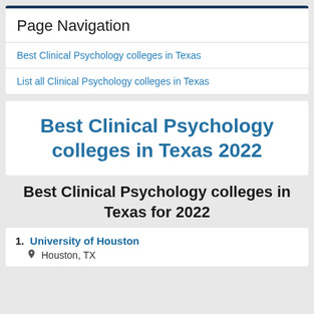Page Navigation
Best Clinical Psychology colleges in Texas
List all Clinical Psychology colleges in Texas
Best Clinical Psychology colleges in Texas 2022
Best Clinical Psychology colleges in Texas for 2022
1. University of Houston
Houston, TX